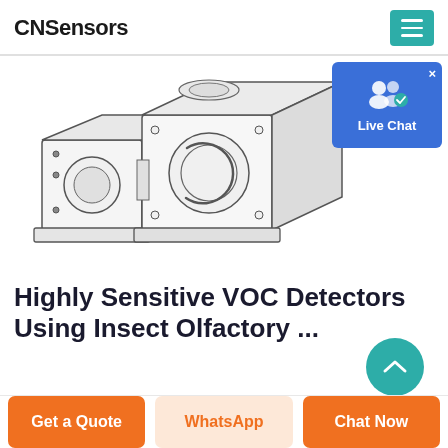CNSensors
[Figure (illustration): Technical line drawing / engineering illustration of a VOC sensor assembly consisting of two cube-shaped metal blocks with circular openings, ports, and mounting flanges, shown in isometric perspective on white background.]
[Figure (screenshot): Live Chat widget button with blue background, two user icons and a checkmark badge, and white text 'Live Chat']
Highly Sensitive VOC Detectors Using Insect Olfactory ...
Get a Quote
WhatsApp
Chat Now